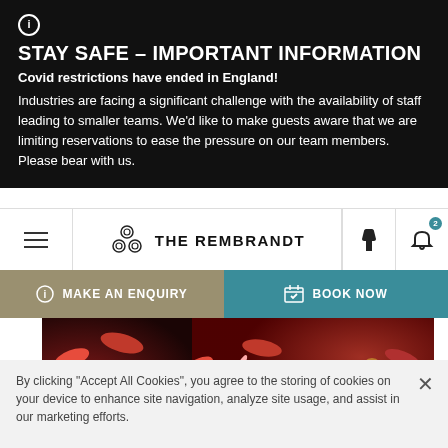STAY SAFE – IMPORTANT INFORMATION
Covid restrictions have ended in England!
Industries are facing a significant challenge with the availability of staff leading to smaller teams. We'd like to make guests aware that we are limiting reservations to ease the pressure on our team members. Please bear with us.
[Figure (screenshot): Navigation bar with hamburger menu, The Rembrandt hotel logo, phone and notification bell icons]
[Figure (other): Two action buttons: MAKE AN ENQUIRY (tan/khaki) and BOOK NOW (teal)]
[Figure (photo): Hero image showing red flowers/confetti with gold decorative elements]
By clicking "Accept All Cookies", you agree to the storing of cookies on your device to enhance site navigation, analyze site usage, and assist in our marketing efforts.